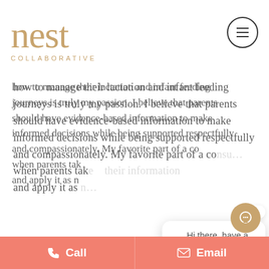[Figure (logo): Nest Collaborative logo with stylized 'nest' text and 'COLLABORATIVE' subtitle in tan/gold color, with hamburger menu icon in circle top right]
how to manage their lactation and infant feeding journeys is truly my passion. I believe that parents should have evidence-based information to make informed decisions while being supported respectfully and compassionately. My favorite part of a con... when parents tak... their information... and apply it as n...
[Figure (screenshot): Chat popup with 'close' button, nest 'n' logo, and message: 'Hi there, have a question? Text us here. Se habla Español.']
In what ty... you suppo... lactation?
I have eight years of experience supporting fam...
Call   Email